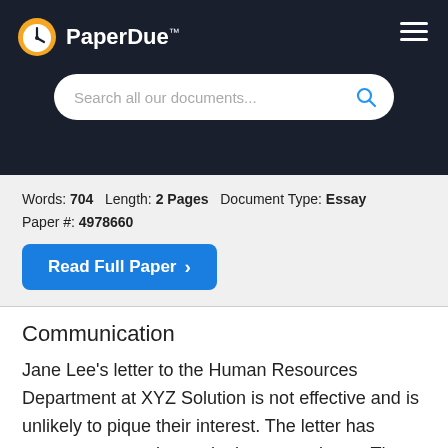PaperDue™
Search all our documents...
Words: 704   Length: 2 Pages   Document Type: Essay
Paper #: 4978660
Read Full Paper ❯
Communication
Jane Lee's letter to the Human Resources Department at XYZ Solution is not effective and is unlikely to pique their interest. The letter has grammar errors that make it appear sloppy. There is